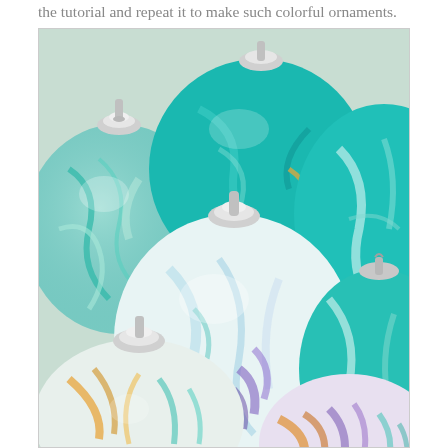the tutorial and repeat it to make such colorful ornaments.
[Figure (photo): A close-up photograph of several glass Christmas ornament balls decorated with swirling marbled paint patterns in teal, turquoise, white, purple, and orange/gold colors, arranged together. Each ornament has a silver metal cap and hanger loop.]